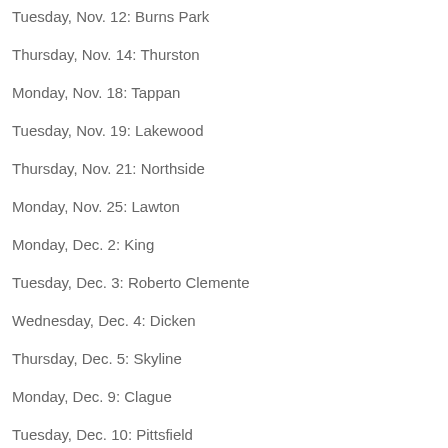Tuesday, Nov. 12: Burns Park
Thursday, Nov. 14: Thurston
Monday, Nov. 18: Tappan
Tuesday, Nov. 19: Lakewood
Thursday, Nov. 21: Northside
Monday, Nov. 25: Lawton
Monday, Dec. 2: King
Tuesday, Dec. 3: Roberto Clemente
Wednesday, Dec. 4: Dicken
Thursday, Dec. 5: Skyline
Monday, Dec. 9: Clague
Tuesday, Dec. 10: Pittsfield
Thursday, Dec. 12: A2 Tech